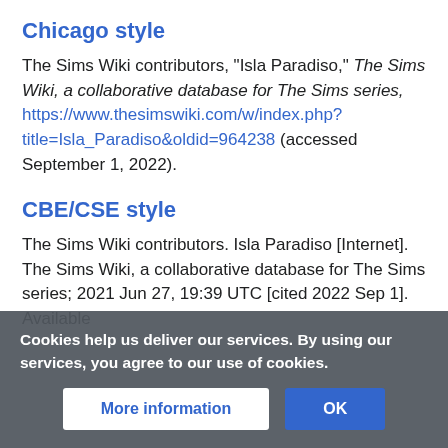Chicago style
The Sims Wiki contributors, "Isla Paradiso," The Sims Wiki, a collaborative database for The Sims series, https://www.thesimswiki.com/w/index.php?title=Isla_Paradiso&oldid=964238 (accessed September 1, 2022).
CBE/CSE style
The Sims Wiki contributors. Isla Paradiso [Internet]. The Sims Wiki, a collaborative database for The Sims series; 2021 Jun 27, 19:39 UTC [cited 2022 Sep 1]. Available from: https://www.thesimswiki.com/w/index.php?...
Cookies help us deliver our services. By using our services, you agree to our use of cookies.